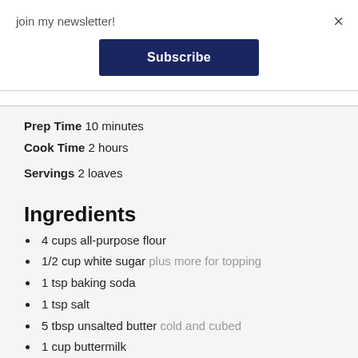join my newsletter!
Subscribe
×
Prep Time 10 minutes
Cook Time 2 hours
Servings 2 loaves
Ingredients
4 cups all-purpose flour
1/2 cup white sugar plus more for topping
1 tsp baking soda
1 tsp salt
5 tbsp unsalted butter cold and cubed
1 cup buttermilk
1 cup sour cream
1 egg large
1 cup raisins